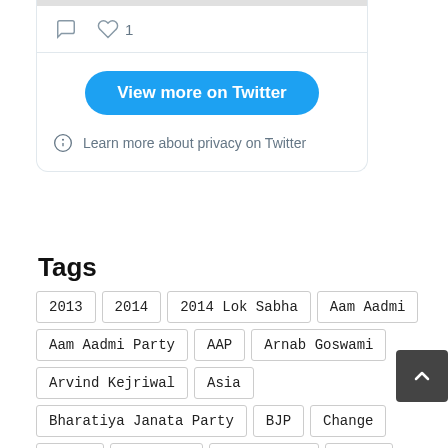[Figure (screenshot): Twitter widget showing comment icon, heart icon with count 1, a blue 'View more on Twitter' button, and a privacy info link]
Tags
2013
2014
2014 Lok Sabha
Aam Aadmi
Aam Aadmi Party
AAP
Arnab Goswami
Arvind Kejriwal
Asia
Bharatiya Janata Party
BJP
Change
China
Congress
Corruption
Delhi
Democracy
Elections
Facebook
Funny